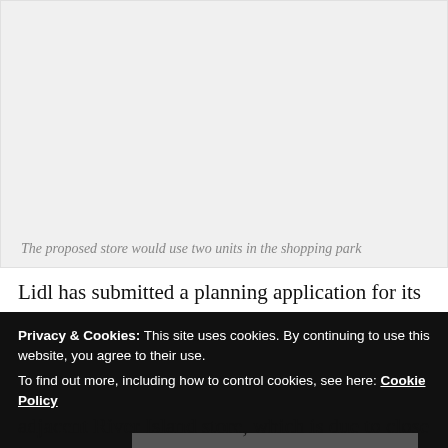[Figure (photo): Photo of a shopping park showing two retail units, light grey background placeholder]
The proposed store would use two units in the shopping park
Lidl has submitted a planning application for its proposed
Privacy & Cookies: This site uses cookies. By continuing to use this website, you agree to their use.
To find out more, including how to control cookies, see here: Cookie Policy
Close and accept
adjacent River Island store, which is due to close in